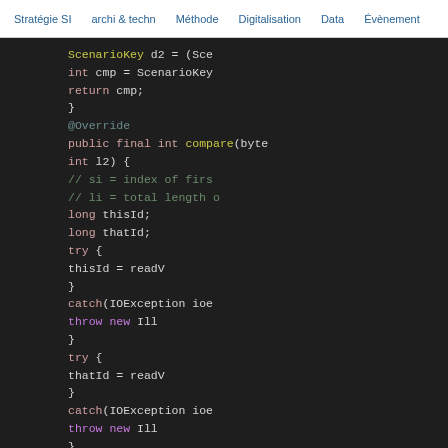Stratégie SI  archi & techn  Méthode  Digitalisation  Data  Évènement
[Figure (screenshot): Screenshot of Java code editor (dark theme) showing a comparator method with ScenarioKey, IOException handling, try/catch blocks, long thisId and thatId variables, and int cmp calculation.]